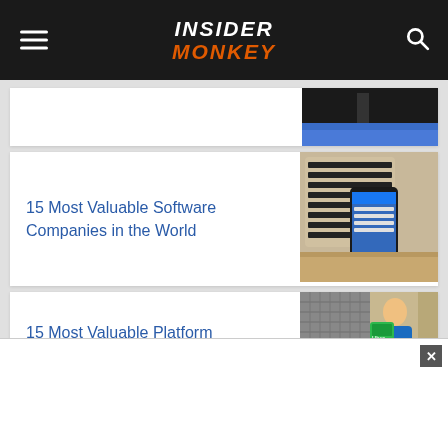INSIDER MONKEY
[Figure (screenshot): Partially visible article card with a blue and dark image on the right (monitor/screen)]
15 Most Valuable Software Companies in the World
[Figure (photo): Photo of a smartphone and laptop keyboard from above]
15 Most Valuable Platform Companies in the
[Figure (photo): Photo of a delivery person with green Uber Eats bag]
[Figure (screenshot): Advertisement overlay banner at the bottom of the page with a close button]